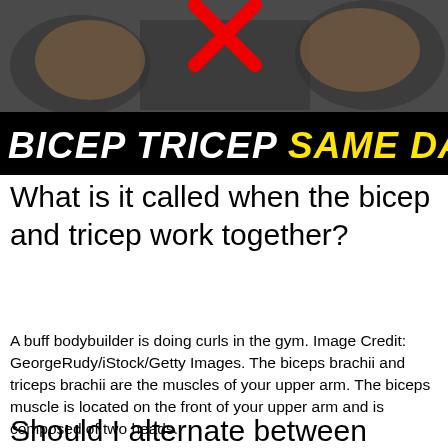[Figure (photo): A person doing bicep curls in a gym, with a red X overlay on the image. A bold text banner at the bottom reads 'BICEP TRICEP SAME DAY' in white and yellow italic text on black background.]
What is it called when the bicep and tricep work together?
A buff bodybuilder is doing curls in the gym. Image Credit: GeorgeRudy/iStock/Getty Images. The biceps brachii and triceps brachii are the muscles of your upper arm. The biceps muscle is located on the front of your upper arm and is composed of two heads.
Should I alternate between